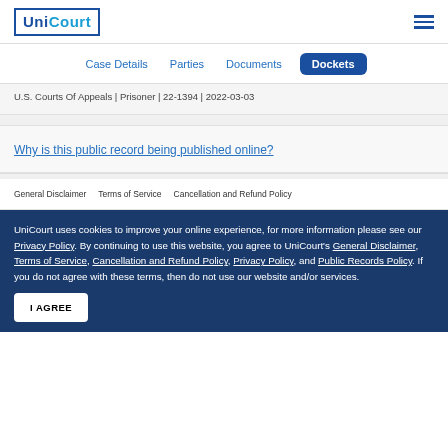UniCourt
Case Details | Parties | Documents | Dockets
U.S. Courts Of Appeals | Prisoner | 22-1394 | 2022-03-03
Why is this public record being published online?
General Disclaimer   Terms of Service   Cancellation and Refund Policy
UniCourt uses cookies to improve your online experience, for more information please see our Privacy Policy. By continuing to use this website, you agree to UniCourt's General Disclaimer, Terms of Service, Cancellation and Refund Policy, Privacy Policy, and Public Records Policy. If you do not agree with these terms, then do not use our website and/or services.